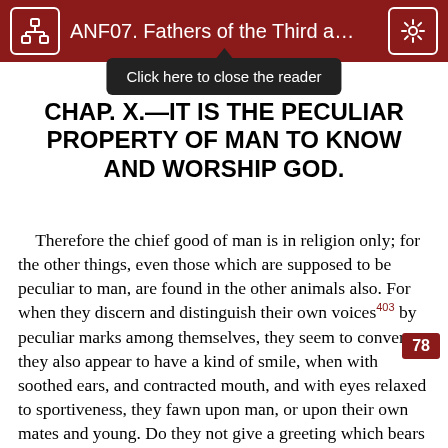ANF07. Fathers of the Third a...
CHAP. X.—IT IS THE PECULIAR PROPERTY OF MAN TO KNOW AND WORSHIP GOD.
Therefore the chief good of man is in religion only; for the other things, even those which are supposed to be peculiar to man, are found in the other animals also. For when they discern and distinguish their own voices403 by peculiar marks among themselves, they seem to converse: they also appear to have a kind of smile, when with soothed ears, and contracted mouth, and with eyes relaxed to sportiveness, they fawn upon man, or upon their own mates and young. Do they not give a greeting which bears some resemblance to mutual love and indulgence? Again, those creatures which look forward to the future and lay up for themselves food, plainly have foresight.